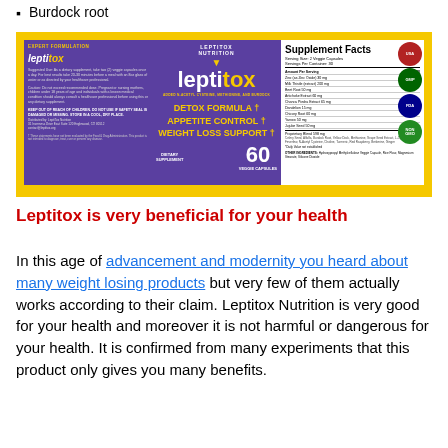Burdock root
[Figure (photo): Leptitox supplement product label showing supplement facts, brand logo, detox formula claims, dietary supplement info, 60 veggie capsules, and certification badges (USA, GMP, FDA, Non-GMO).]
Leptitox is very beneficial for your health
In this age of advancement and modernity you heard about many weight losing products but very few of them actually works according to their claim. Leptitox Nutrition is very good for your health and moreover it is not harmful or dangerous for your health. It is confirmed from many experiments that this product only gives you many benefits.